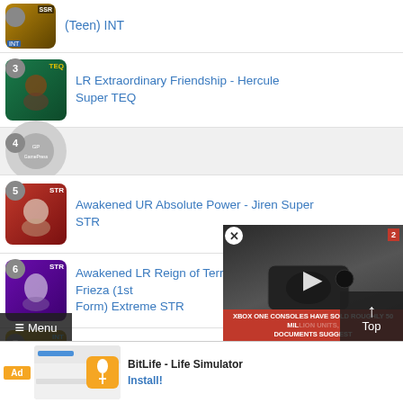(Teen) INT
3. LR Extraordinary Friendship - Hercule Super TEQ
4. [GamePress placeholder]
5. Awakened UR Absolute Power - Jiren Super STR
6. Awakened LR Reign of Terror - Frieza (1st Form) Extreme STR
7. Android #16
8. LR Heinous Attack - Cooler (Final Form)
[Figure (screenshot): Video overlay showing Xbox One console with play button and red banner: XBOX ONE CONSOLES HAVE SOLD ROUGHLY 50 MILLION UNITS, DOCUMENTS SUGGEST]
[Figure (screenshot): Ad banner for BitLife - Life Simulator with Install button]